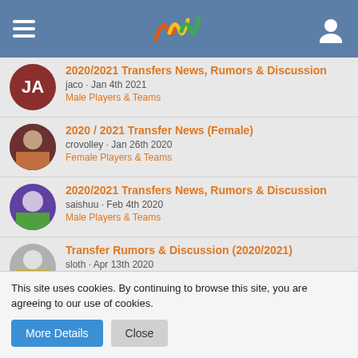Navigation header with hamburger menu, logo, and user icon
2020/2021 Transfers News, Rumors & Discussion | jaco · Jan 4th 2021 | Male Players & Teams
2020 / 2021 Transfer News (Female) | crovolley · Jan 26th 2020 | Female Players & Teams
2020/2021 Transfers News, Rumors & Discussion | saishuu · Feb 4th 2020 | Male Players & Teams
Transfer Rumors & Discussion (2020/2021) | sloth · Apr 13th 2020 | Female Players & Teams
Turkey - Vestel Venüs Sultanlar Ligi - 2019/2020 | user · May 13th 2019 | European Leagues
This site uses cookies. By continuing to browse this site, you are agreeing to our use of cookies.
More Details | Close